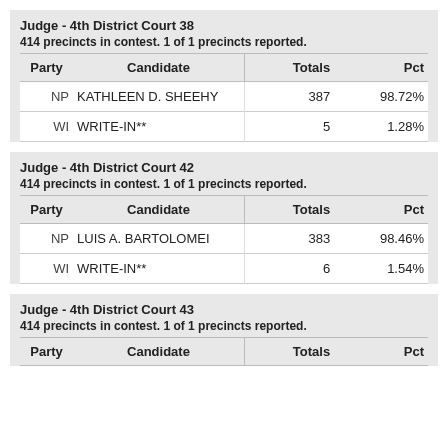Judge - 4th District Court 38
414 precincts in contest. 1 of 1 precincts reported.
| Party | Candidate | Totals | Pct |
| --- | --- | --- | --- |
| NP | KATHLEEN D. SHEEHY | 387 | 98.72% |
| WI | WRITE-IN** | 5 | 1.28% |
Judge - 4th District Court 42
414 precincts in contest. 1 of 1 precincts reported.
| Party | Candidate | Totals | Pct |
| --- | --- | --- | --- |
| NP | LUIS A. BARTOLOMEI | 383 | 98.46% |
| WI | WRITE-IN** | 6 | 1.54% |
Judge - 4th District Court 43
414 precincts in contest. 1 of 1 precincts reported.
| Party | Candidate | Totals | Pct |
| --- | --- | --- | --- |